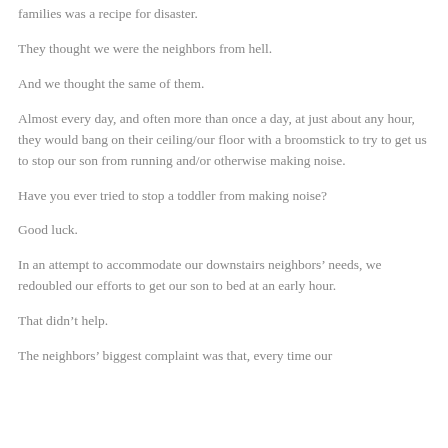families was a recipe for disaster.
They thought we were the neighbors from hell.
And we thought the same of them.
Almost every day, and often more than once a day, at just about any hour, they would bang on their ceiling/our floor with a broomstick to try to get us to stop our son from running and/or otherwise making noise.
Have you ever tried to stop a toddler from making noise?
Good luck.
In an attempt to accommodate our downstairs neighbors’ needs, we redoubled our efforts to get our son to bed at an early hour.
That didn’t help.
The neighbors’ biggest complaint was that, every time our